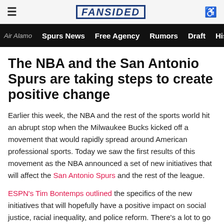≡  FANSIDED  ♿
Air Alamo  Spurs News  Free Agency  Rumors  Draft  His
The NBA and the San Antonio Spurs are taking steps to create positive change
Earlier this week, the NBA and the rest of the sports world hit an abrupt stop when the Milwaukee Bucks kicked off a movement that would rapidly spread around American professional sports. Today we saw the first results of this movement as the NBA announced a set of new initiatives that will affect the San Antonio Spurs and the rest of the league.
ESPN's Tim Bontemps outlined the specifics of the new initiatives that will hopefully have a positive impact on social justice, racial inequality, and police reform. There's a lot to go over so let's get right into it.